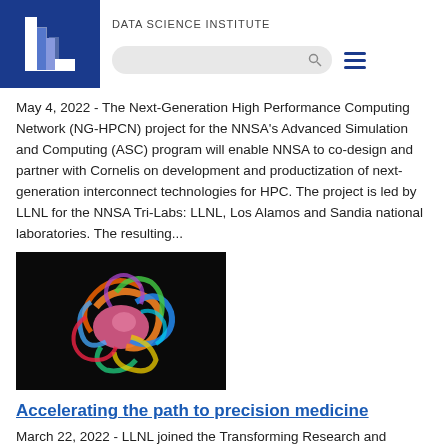DATA SCIENCE INSTITUTE
May 4, 2022 - The Next-Generation High Performance Computing Network (NG-HPCN) project for the NNSA's Advanced Simulation and Computing (ASC) program will enable NNSA to co-design and partner with Cornelis on development and productization of next-generation interconnect technologies for HPC. The project is led by LLNL for the NNSA Tri-Labs: LLNL, Los Alamos and Sandia national laboratories. The resulting...
[Figure (photo): Colorful scientific visualization of a complex biological or molecular structure on black background, featuring bright multicolored 3D ribbon-like forms.]
Accelerating the path to precision medicine
March 22, 2022 - LLNL joined the Transforming Research and